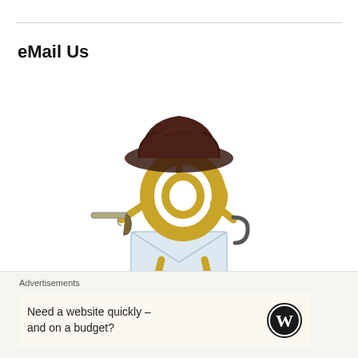eMail Us
[Figure (illustration): A stylized gold @ symbol character dressed as a pirate, wearing a dark tricorn hat and holding a flintlock pistol, with a hook for one hand, standing on a white envelope/base.]
PiratesPortal@Gmail.com
Advertisements
Need a website quickly – and on a budget?